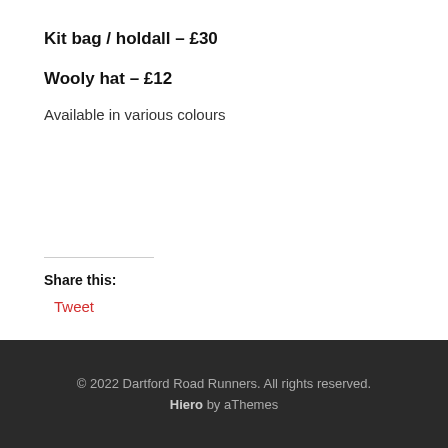Kit bag / holdall – £30
Wooly hat – £12
Available in various colours
Share this:
Tweet
© 2022 Dartford Road Runners. All rights reserved. Hiero by aThemes